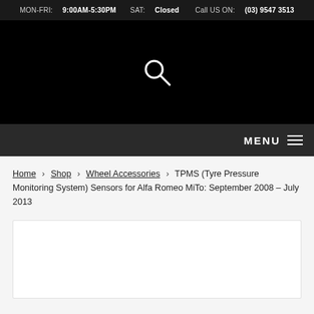MON-FRI: 9:00AM-5:30PM SAT: Closed   Call US ON: (03) 9547 3513
[Figure (other): Black header area with a white search/magnifying glass icon centered]
MENU ☰
Home › Shop › Wheel Accessories › TPMS (Tyre Pressure Monitoring System) Sensors for Alfa Romeo MiTo: September 2008 – July 2013
[Figure (other): White product content box, partially visible at bottom of page]